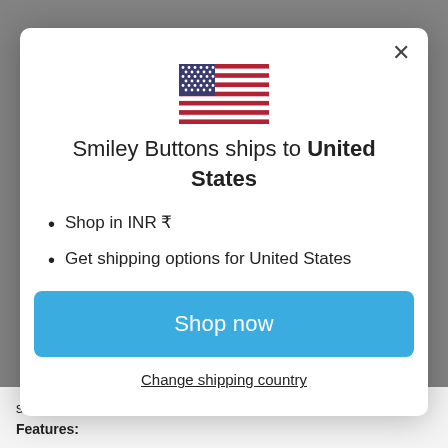[Figure (screenshot): US flag emoji/icon centered in modal]
Smiley Buttons ships to United States
Shop in INR ₹
Get shipping options for United States
Shop now
Change shipping country
swaddles,burp cloth, bath towels, face cloths.
Features: